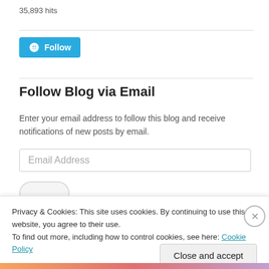35,893 hits
[Figure (other): WordPress Follow button with WordPress logo icon and 'Follow' label on a teal/blue background]
Follow Blog via Email
Enter your email address to follow this blog and receive notifications of new posts by email.
Email Address
Privacy & Cookies: This site uses cookies. By continuing to use this website, you agree to their use.
To find out more, including how to control cookies, see here: Cookie Policy
Close and accept